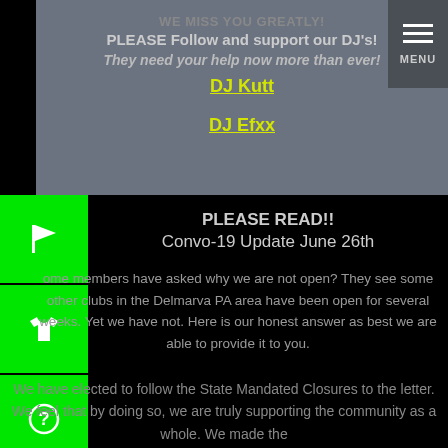WE MISS YOU GREATLY! PLEASE Follow and support our DJ's! They need your help now more than ever!
DJ Kutt
DJ Efxx
PLEASE READ!! Convo-19 Update June 26th
Some members have asked why we are not open? They see some other clubs in the Delmarva PA area have been open for several weeks. Yet we have not. Here is our honest answer as best we are able to provide it to you.
We have elected to follow the State Mandated Closures to the letter. We feel that by doing so, we are truly supporting the community as a whole. We made the